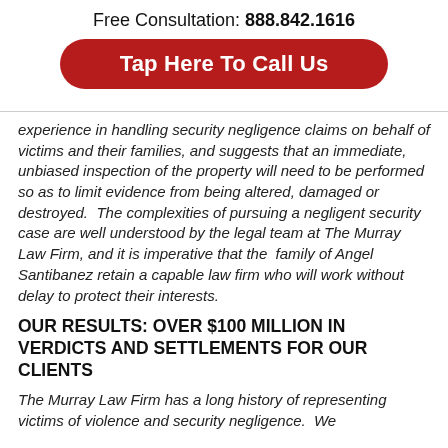Free Consultation: 888.842.1616
[Figure (other): Red rounded button reading 'Tap Here To Call Us']
experience in handling security negligence claims on behalf of victims and their families, and suggests that an immediate, unbiased inspection of the property will need to be performed so as to limit evidence from being altered, damaged or destroyed.  The complexities of pursuing a negligent security case are well understood by the legal team at The Murray Law Firm, and it is imperative that the  family of Angel Santibanez retain a capable law firm who will work without delay to protect their interests.
OUR RESULTS: OVER $100 MILLION IN VERDICTS AND SETTLEMENTS FOR OUR CLIENTS
The Murray Law Firm has a long history of representing victims of violence and security negligence.  We